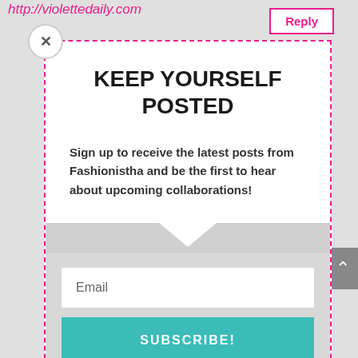http://violettedaily.com
Reply
KEEP YOURSELF POSTED
Sign up to receive the latest posts from Fashionistha and be the first to hear about upcoming collaborations!
Email
SUBSCRIBE!